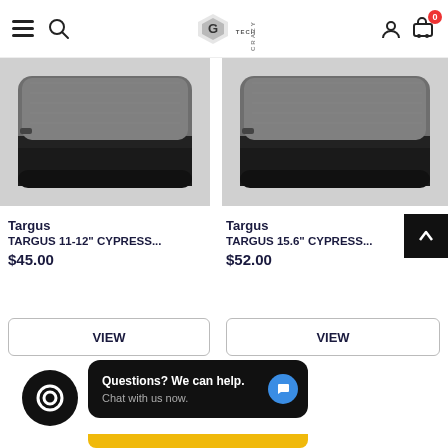TechCrazy store header with hamburger menu, search, logo, user icon, cart (0)
[Figure (photo): Targus grey/black laptop sleeve bag, left product]
[Figure (photo): Targus grey/black laptop sleeve bag, right product]
Targus
TARGUS 11-12" CYPRESS...
$45.00
Targus
TARGUS 15.6" CYPRESS...
$52.00
VIEW
VIEW
Questions? We can help. Chat with us now.